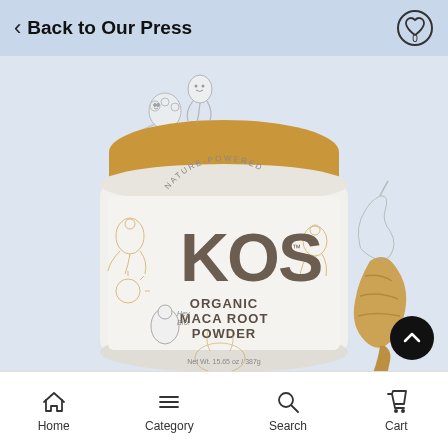Back to Our Press
[Figure (photo): KOS Organic Maca Root Powder supplement jar with golden yellow lid and white label, surrounded by whimsical cartoon illustrations of maca root characters. A real maca root is shown to the right of the jar. Net Wt. 15.65 oz / 387g.]
Home   Category   Search   Cart